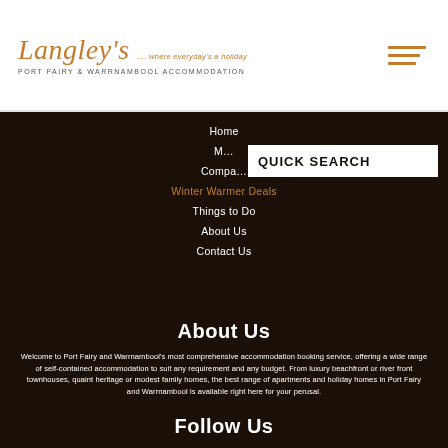[Figure (logo): Langley's logo with script text, tagline 'where everyday's a holiday' and seashell icon, subtitle 'PORT FAIRY & WARRNAMBOOL ACCOMMODATION']
[Figure (other): Hamburger menu icon with three orange horizontal bars of decreasing width]
[Figure (screenshot): Navigation menu on dark background with links: Home, M[ake a Booking], Compa[re Properties], Winter Warmer Deals, Things to Do, About Us, Contact Us. Overlaid with QUICK SEARCH white box.]
About Us
Welcome to Port Fairy and Warrnambool's most comprehensive accommodation booking service, offering a wide range of self-contained accommodation to suit any requirement and any budget. From luxury beachfront or river front townhouses, quaint heritage or modest family homes, the best range of apartments and holiday homes in Port Fairy and Warrnambool is available right here for your perusal.
Follow Us